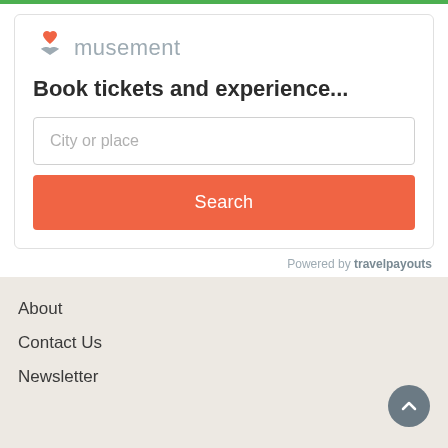[Figure (logo): Musement logo with orange heart and grey wing/check mark icon, followed by grey text 'musement']
Book tickets and experience...
City or place
Search
Powered by travelpayouts
About
Contact Us
Newsletter